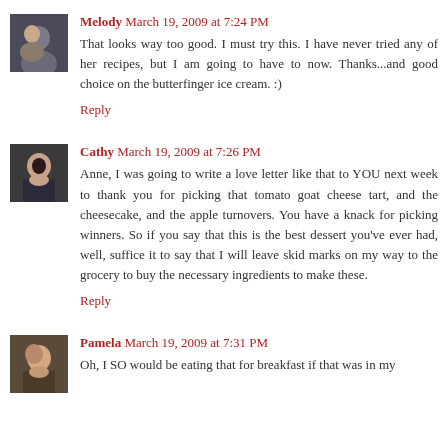Melody March 19, 2009 at 7:24 PM
That looks way too good. I must try this. I have never tried any of her recipes, but I am going to have to now. Thanks...and good choice on the butterfinger ice cream. :)
Reply
Cathy March 19, 2009 at 7:26 PM
Anne, I was going to write a love letter like that to YOU next week to thank you for picking that tomato goat cheese tart, and the cheesecake, and the apple turnovers. You have a knack for picking winners. So if you say that this is the best dessert you've ever had, well, suffice it to say that I will leave skid marks on my way to the grocery to buy the necessary ingredients to make these.
Reply
Pamela March 19, 2009 at 7:31 PM
Oh, I SO would be eating that for breakfast if that was in my